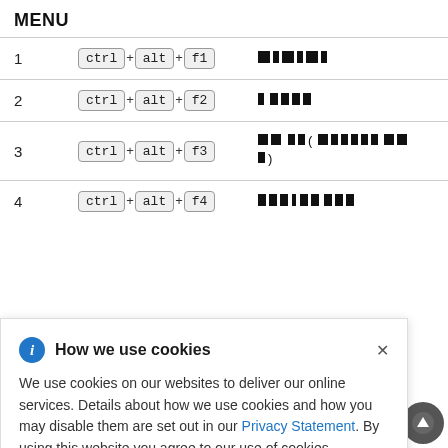MENU
| # | Shortcut | Action |
| --- | --- | --- |
| 1 | ctrl + alt + f1 | ██ ██ ██ |
| 2 | ctrl + alt + f2 | █ ████ |
| 3 | ctrl + alt + f3 | ██ ██ (██ █████ ██ █) |
| 4 | ctrl + alt + f4 | ███-██ ███ |
How we use cookies — We use cookies on our websites to deliver our online services. Details about how we use cookies and how you may disable them are set out in our Privacy Statement. By using this website you agree to our use of cookies.